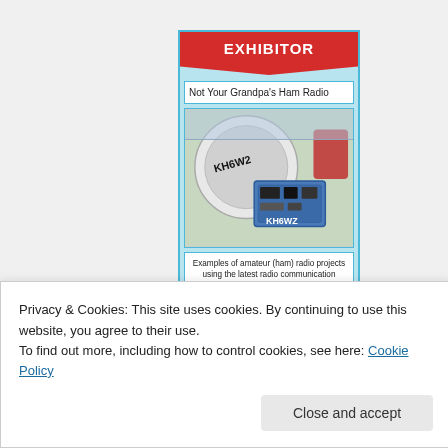EXHIBITOR
Not Your Grandpa's Ham Radio
[Figure (photo): Photo of amateur ham radio equipment labeled KH6WZ, showing a large cylindrical component and electronic box at what appears to be an outdoor exhibition.]
Examples of amateur (ham) radio projects using the latest radio communication technology - WiFi, microwave frequencies, GPS, Arduino other microcontrollers. Other communication modes such as SSTV, ATV, laser may be included in
Privacy & Cookies: This site uses cookies. By continuing to use this website, you agree to their use.
To find out more, including how to control cookies, see here: Cookie Policy